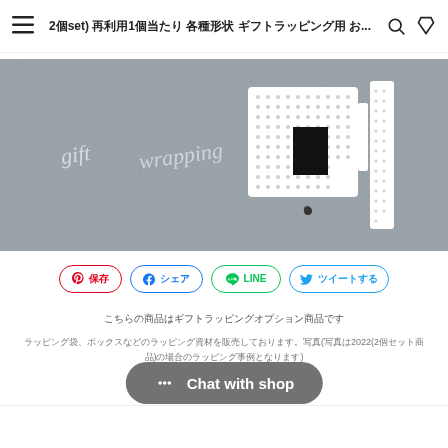2個set) 再利用1個当たり 各種形状 ギフトラッピング用...
[Figure (photo): Product photo of gift wrapping items on a grey textured background with the text 'gift wrapping' in script, showing white patterned boxes and tags.]
保存 | シェアする | LINE | ツイートする
こちらの商品はギフトラッピングオプション商品です
ラッピング袋、ボックスなどのラッピング資材を販売しております。写真(写真は2022(2個セット商品)の場合のラッピング事例となります)